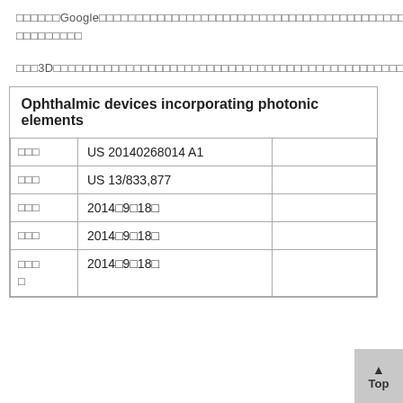□□□□□□Google□□□□□□□□□□□□□□□□□□□□□□□□□□□□□□□□□□□□□□□□□□□□□□□□□□□□□□□□□□□□
□□3D□□□□□□□□□□□□□□□□□□□□□□□□□□□□□□□□□□□□□□□□□□□□□□□□□□□□□□□□□□□□□□□□□□□□1□□□□□□□□□□□□□□□□□□□□□□□□□□□□□□□□□□□□□□□□□□□□□□□□□□□□□□□□□
| Ophthalmic devices incorporating photonic elements |
| --- |
| □□□ | US 20140268014 A1 |  |
| □□□ | US 13/833,877 |  |
| □□□ | 2014□9□18□ |  |
| □□□ | 2014□9□18□ |  |
| □□□□ | 2014□9□18□ |  |